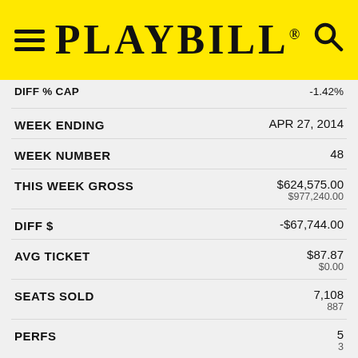PLAYBILL
| Field | Value |
| --- | --- |
| DIFF % CAP | -1.42% |
| WEEK ENDING | APR 27, 2014 |
| WEEK NUMBER | 48 |
| THIS WEEK GROSS | $624,575.00 / $977,240.00 |
| DIFF $ | -$67,744.00 |
| AVG TICKET | $87.87 / $0.00 |
| SEATS SOLD | 7,108 / 887 |
| PERFS | 5 / 3 |
| % CAP | 100.17% |